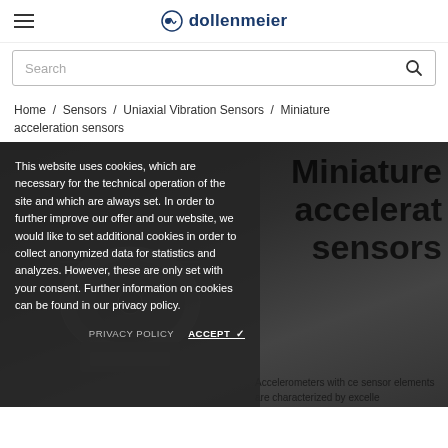dollenmeier
Search
Home / Sensors / Uniaxial Vibration Sensors / Miniature acceleration sensors
This website uses cookies, which are necessary for the technical operation of the site and which are always set. In order to further improve our offer and our website, we would like to set additional cookies in order to collect anonymized data for statistics and analyzes. However, these are only set with your consent. Further information on cookies can be found in our privacy policy.
PRIVACY POLICY
ACCEPT ✓
Miniature acceleration sensors
Accelerometers with ce sensor elements are characterized by excelle
[Figure (photo): Dark background photo of miniature acceleration sensors (small metallic sensor devices)]